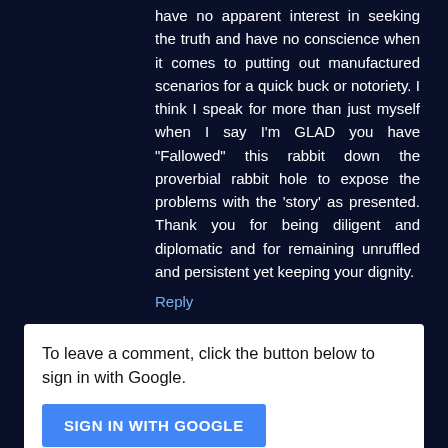have no apparent interest in seeking the truth and have no conscience when it comes to putting out manufactured scenarios for a quick buck or notoriety. I think I speak for more than just myself when I say I'm GLAD you have "Fallowed" this rabbit down the proverbial rabbit hole to expose the problems with the 'story' as presented. Thank you for being diligent and diplomatic and for remaining unruffled and persistent yet keeping your dignity.
Reply
To leave a comment, click the button below to sign in with Google.
SIGN IN WITH GOOGLE
Dear Contributor,
Your comments are greatly appreciated, and coveted; however, blatant mis-use of this site's bandwidth will not be tolerated (e.g., SPAM etc).